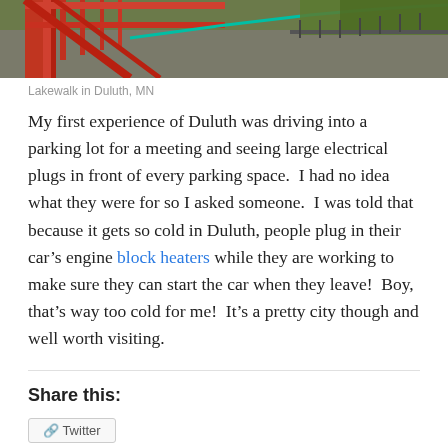[Figure (photo): Photo of a red bridge/walkway structure — Lakewalk in Duluth, MN — showing red metal railings and a road/path below with greenery in the background.]
Lakewalk in Duluth, MN
My first experience of Duluth was driving into a parking lot for a meeting and seeing large electrical plugs in front of every parking space.  I had no idea what they were for so I asked someone.  I was told that because it gets so cold in Duluth, people plug in their car’s engine block heaters while they are working to make sure they can start the car when they leave!  Boy, that’s way too cold for me!  It’s a pretty city though and well worth visiting.
Share this: